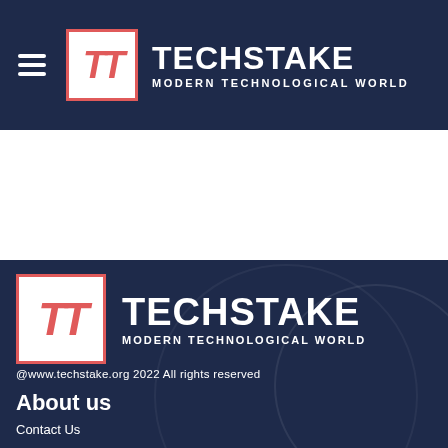TECHSTAKE MODERN TECHNOLOGICAL WORLD
[Figure (logo): TechStake logo — TT monogram in red on white box with red border, beside brand name TECHSTAKE and tagline MODERN TECHNOLOGICAL WORLD in white on dark navy header]
[Figure (logo): TechStake footer logo — TT monogram in red on white box with red border, beside brand name TECHSTAKE and tagline MODERN TECHNOLOGICAL WORLD in white on dark navy background]
@www.techstake.org 2022 All rights reserved
About us
Contact Us
Terms and Conditions